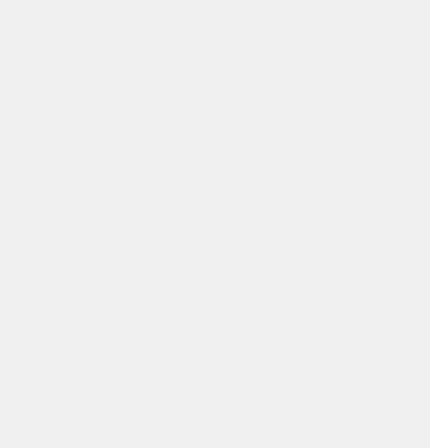in Sateh al Bahr, Jericho, displacing two people from one household. The community is located on the side of Road No. 1, between